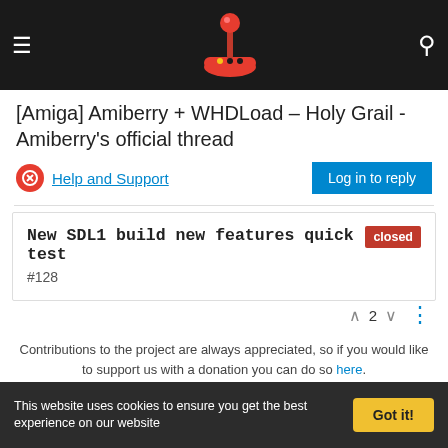[Amiga] Amiberry + WHDLoad – Holy Grail - Amiberry's official thread
Help and Support
Log in to reply
New SDL1 build new features quick test   closed
#128
2
Contributions to the project are always appreciated, so if you would like to support us with a donation you can do so here.
Hosting provided by Mythic-Beasts. See the Hosting Information page for more information.
This website uses cookies to ensure you get the best experience on our website